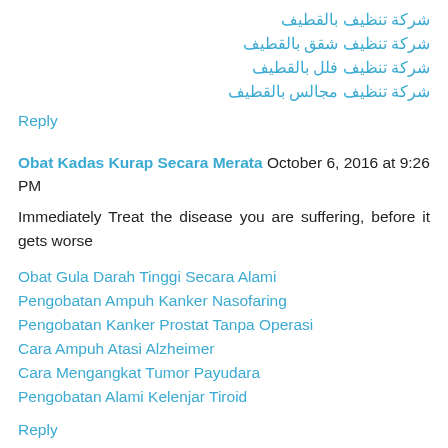شركة تنظيف بالقطيف
شركة تنظيف شقق بالقطيف
شركة تنظيف فلل بالقطيف
شركة تنظيف مجالس بالقطيف
Reply
Obat Kadas Kurap Secara Merata  October 6, 2016 at 9:26 PM
Immediately Treat the disease you are suffering, before it gets worse
Obat Gula Darah Tinggi Secara Alami
Pengobatan Ampuh Kanker Nasofaring
Pengobatan Kanker Prostat Tanpa Operasi
Cara Ampuh Atasi Alzheimer
Cara Mengangkat Tumor Payudara
Pengobatan Alami Kelenjar Tiroid
Reply